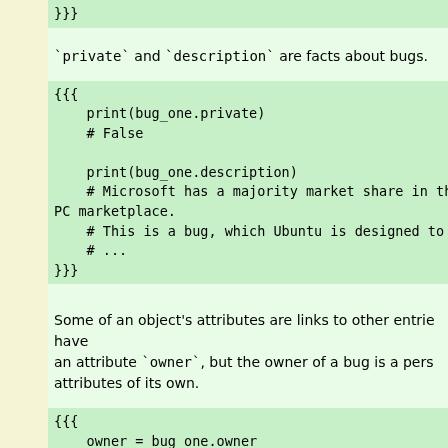}}}

`private` and `description` are facts about bugs.
{{{
    print(bug_one.private)
    # False

    print(bug_one.description)
    # Microsoft has a majority market share in the new PC marketplace.
    # This is a bug, which Ubuntu is designed to fix.
    # ...
}}}
Some of an object's attributes are links to other entries that have an attribute `owner`, but the owner of a bug is a person with attributes of its own.
{{{
    owner = bug_one.owner
    print(repr(owner))
    # <person at https://api.staging.launchpad.net/beta/~sabdfl>
    print(owner.name)
    # sabdfl
    print(owner.display_name)
    # Mark Shuttleworth